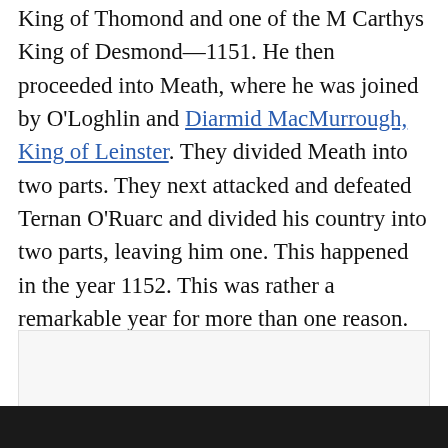King of Thomond and one of the M Carthys King of Desmond—1151. He then proceeded into Meath, where he was joined by O'Loghlin and Diarmid MacMurrough, King of Leinster. They divided Meath into two parts. They next attacked and defeated Ternan O'Ruarc and divided his country into two parts, leaving him one. This happened in the year 1152. This was rather a remarkable year for more than one reason.